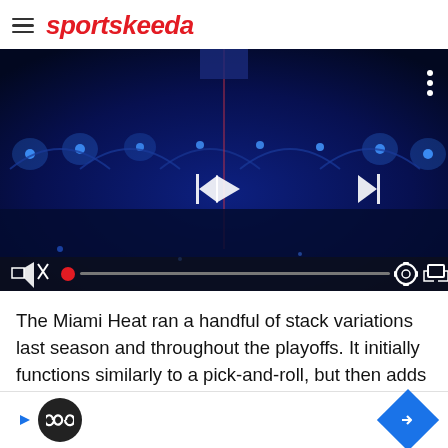sportskeeda
[Figure (screenshot): Video player showing a dark blue basketball arena scene with video playback controls: back, play, and skip buttons in center; mute, progress bar with red dot, settings, and fullscreen icons at bottom.]
The Miami Heat ran a handful of stack variations last season and throughout the playoffs. It initially functions similarly to a pick-and-roll, but then adds an extension after the ball handler drives to either free a shooter or